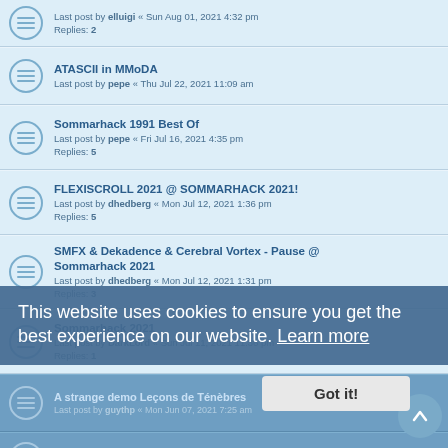Last post by elluigi « Sun Aug 01, 2021 4:32 pm
Replies: 2
ATASCII in MMoDA
Last post by pepe « Thu Jul 22, 2021 11:09 am
Sommarhack 1991 Best Of
Last post by pepe « Fri Jul 16, 2021 4:35 pm
Replies: 5
FLEXISCROLL 2021 @ SOMMARHACK 2021!
Last post by dhedberg « Mon Jul 12, 2021 1:36 pm
Replies: 5
SMFX & Dekadence & Cerebral Vortex - Pause @ Sommarhack 2021
Last post by dhedberg « Mon Jul 12, 2021 1:31 pm
Replies: 3
Sommarhack 2021
Last post by DarkLord « Sun Jul 11, 2021 11:36 pm
Replies: 1
A strange demo Leçons de Ténèbres
Last post by guythp « Mon Jun 07, 2021 7:25 am
Replies: ...
Last post by YQN « Sun Jun 06, 2021 5:00 pm
Replies: 7
Groovykid Fan Made & Videos Famous Atari Group Demos Logos & Musics
Last post by groovykid « Wed May 26, 2021 2:22 am
Replies: 6
This website uses cookies to ensure you get the best experience on our website. Learn more
Got it!